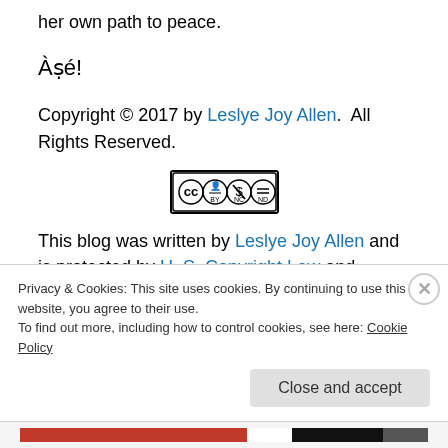her own path to peace.
Àṣé!
Copyright © 2017 by Leslye Joy Allen.  All Rights Reserved.
[Figure (logo): Creative Commons BY-NC-ND license icon]
This blog was written by Leslye Joy Allen and is protected by U. S. Copyright Law and licensed under a Creative Commons Attribution-NonCommercial-NoDerivs 3.0
Privacy & Cookies: This site uses cookies. By continuing to use this website, you agree to their use.
To find out more, including how to control cookies, see here: Cookie Policy